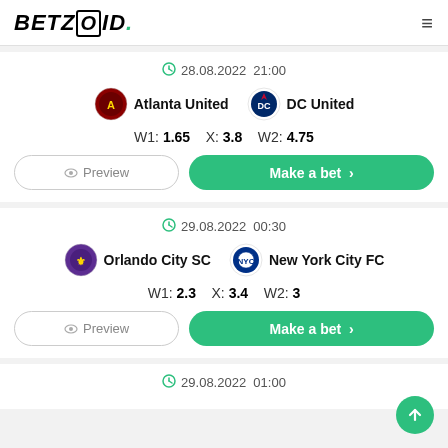BETZOID.
28.08.2022 21:00 — Atlanta United vs DC United — W1: 1.65  X: 3.8  W2: 4.75
Preview | Make a bet >
29.08.2022 00:30 — Orlando City SC vs New York City FC — W1: 2.3  X: 3.4  W2: 3
Preview | Make a bet >
29.08.2022 01:00